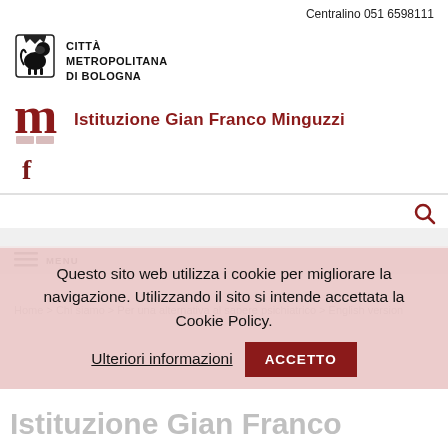Centralino 051 6598111
[Figure (logo): Città Metropolitana di Bologna logo with lion emblem and text CITTÀ METROPOLITANA DI BOLOGNA]
Istituzione Gian Franco Minguzzi
[Figure (logo): Facebook icon in dark red]
[Figure (logo): Search icon magnifying glass]
Questo sito web utilizza i cookie per migliorare la navigazione. Utilizzando il sito si intende accettata la Cookie Policy.  Ulteriori informazioni   ACCETTO
Home > Chi siamo > Per una alternativa al sapere psichiatrico > English version
Istituzione Gian Franco